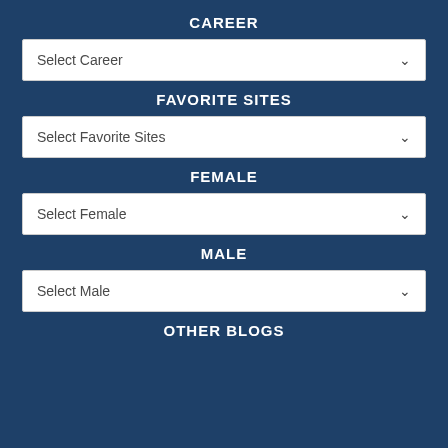CAREER
[Figure (screenshot): Dropdown select box labeled 'Select Career' with a chevron arrow on the right]
FAVORITE SITES
[Figure (screenshot): Dropdown select box labeled 'Select Favorite Sites' with a chevron arrow on the right]
FEMALE
[Figure (screenshot): Dropdown select box labeled 'Select Female' with a chevron arrow on the right]
MALE
[Figure (screenshot): Dropdown select box labeled 'Select Male' with a chevron arrow on the right]
OTHER BLOGS